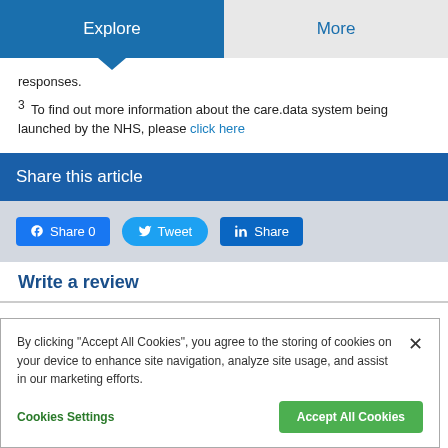Explore | More
responses.
3 To find out more information about the care.data system being launched by the NHS, please click here
Share this article
Share 0 | Tweet | Share
Write a review
By clicking "Accept All Cookies", you agree to the storing of cookies on your device to enhance site navigation, analyze site usage, and assist in our marketing efforts.
Cookies Settings | Accept All Cookies